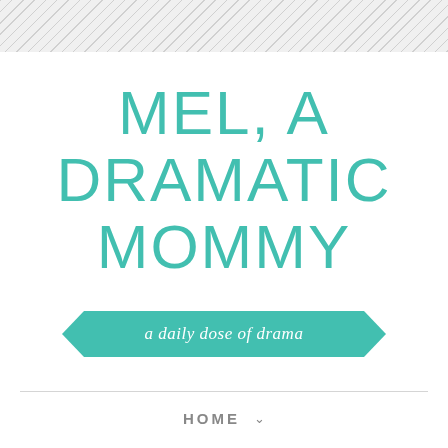[Figure (illustration): Diagonal grey and white stripe pattern header banner]
MEL, A DRAMATIC MOMMY
a daily dose of drama
HOME ∨